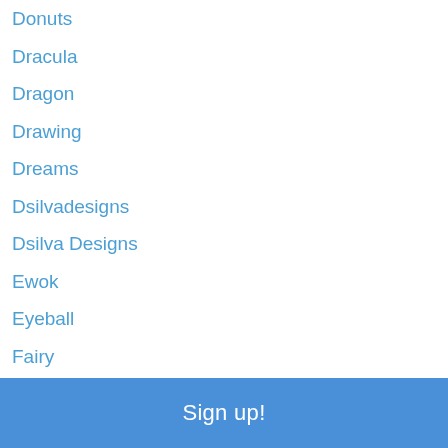Donuts
Dracula
Dragon
Drawing
Dreams
Dsilvadesigns
Dsilva Designs
Ewok
Eyeball
Fairy
Fan Art
Fantasy
Fawn
Fire
Ghostrider
Girl
Girls
Grave-digger
Sign up!